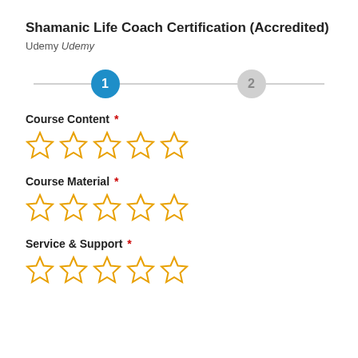Shamanic Life Coach Certification (Accredited)
Udemy Udemy
[Figure (infographic): A two-step stepper indicator. Step 1 is active (filled blue circle with white '1'). Step 2 is inactive (grey circle with grey '2'). Connected by a horizontal grey line.]
Course Content *
[Figure (other): Five empty star rating icons in orange/gold outline]
Course Material *
[Figure (other): Five empty star rating icons in orange/gold outline]
Service & Support *
[Figure (other): Five empty star rating icons in orange/gold outline]